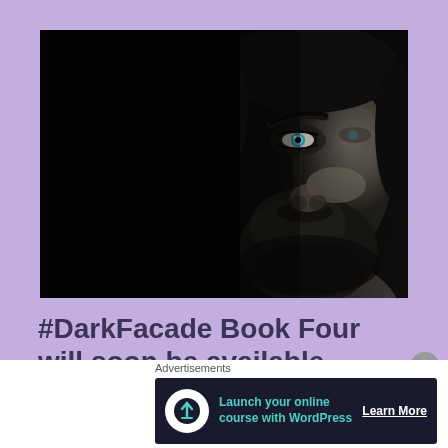[Figure (photo): Black and white dramatic close-up photograph of a bearded man with striking blue eyes, partially in shadow, dark background]
#DarkFacade Book Four will soon be available @NookBN and iBooks #ReaderQuestion
Advertisements
Launch your online course with WordPress
Learn More